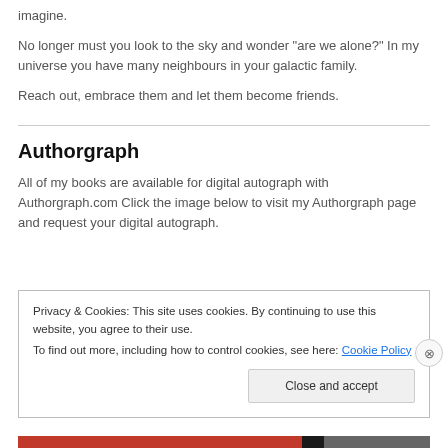imagine.
No longer must you look to the sky and wonder "are we alone?" In my universe you have many neighbours in your galactic family.
Reach out, embrace them and let them become friends.
Authorgraph
All of my books are available for digital autograph with Authorgraph.com Click the image below to visit my Authorgraph page and request your digital autograph.
Privacy & Cookies: This site uses cookies. By continuing to use this website, you agree to their use.
To find out more, including how to control cookies, see here: Cookie Policy